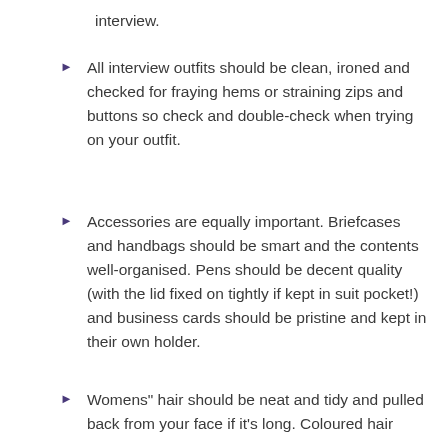interview.
All interview outfits should be clean, ironed and checked for fraying hems or straining zips and buttons so check and double-check when trying on your outfit.
Accessories are equally important. Briefcases and handbags should be smart and the contents well-organised. Pens should be decent quality (with the lid fixed on tightly if kept in suit pocket!) and business cards should be pristine and kept in their own holder.
Womens" hair should be neat and tidy and pulled back from your face if it's long. Coloured hair